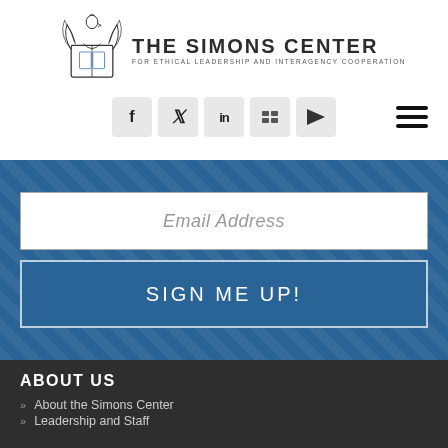[Figure (logo): The Simons Center for Ethical Leadership and Interagency Cooperation logo with eagle crest]
[Figure (infographic): Social media icon buttons: Facebook, Twitter, LinkedIn, Flickr, YouTube and hamburger menu icon]
Email Address
SIGN ME UP!
ABOUT US
About the Simons Center
Leadership and Staff